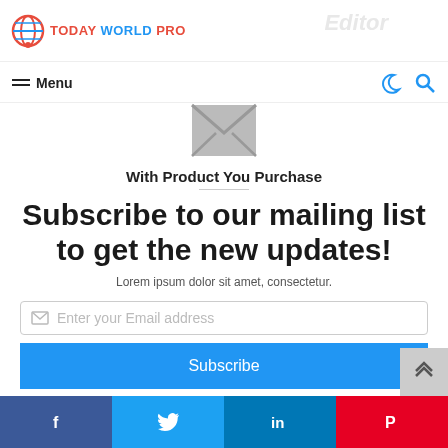Today World Pro
Menu
[Figure (illustration): Envelope icon (mail symbol) in light gray]
With Product You Purchase
Subscribe to our mailing list to get the new updates!
Lorem ipsum dolor sit amet, consectetur.
Enter your Email address
Subscribe
Facebook  Twitter  LinkedIn  Pinterest